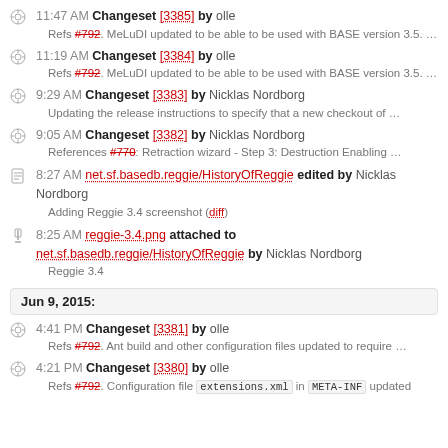11:47 AM Changeset [3385] by olle — Refs #792. MeLuDI updated to be able to be used with BASE version 3.5. ...
11:19 AM Changeset [3384] by olle — Refs #792. MeLuDI updated to be able to be used with BASE version 3.5. ...
9:29 AM Changeset [3383] by Nicklas Nordborg — Updating the release instructions to specify that a new checkout of ...
9:05 AM Changeset [3382] by Nicklas Nordborg — References #770: Retraction wizard - Step 3: Destruction Enabling ...
8:27 AM net.sf.basedb.reggie/HistoryOfReggie edited by Nicklas Nordborg — Adding Reggie 3.4 screenshot (diff)
8:25 AM reggie-3.4.png attached to net.sf.basedb.reggie/HistoryOfReggie by Nicklas Nordborg — Reggie 3.4
Jun 9, 2015:
4:41 PM Changeset [3381] by olle — Refs #792. Ant build and other configuration files updated to require ...
4:21 PM Changeset [3380] by olle — Refs #792. Configuration file extensions.xml in META-INF updated ...